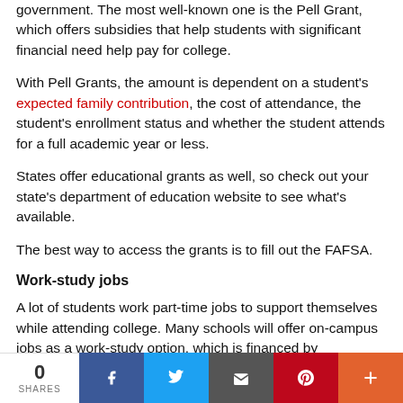government. The most well-known one is the Pell Grant, which offers subsidies that help students with significant financial need help pay for college.
With Pell Grants, the amount is dependent on a student's expected family contribution, the cost of attendance, the student's enrollment status and whether the student attends for a full academic year or less.
States offer educational grants as well, so check out your state's department of education website to see what's available.
The best way to access the grants is to fill out the FAFSA.
Work-study jobs
A lot of students work part-time jobs to support themselves while attending college. Many schools will offer on-campus jobs as a work-study option, which is financed by government aid and connected to your FAFSA.
Work-study can cover various jobs on your college campus,